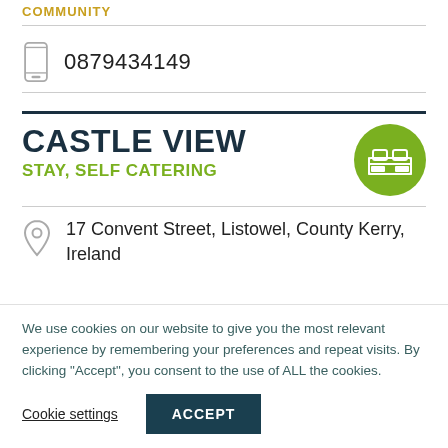COMMUNITY
0879434149
CASTLE VIEW
STAY, SELF CATERING
17 Convent Street, Listowel, County Kerry, Ireland
We use cookies on our website to give you the most relevant experience by remembering your preferences and repeat visits. By clicking “Accept”, you consent to the use of ALL the cookies.
Cookie settings
ACCEPT